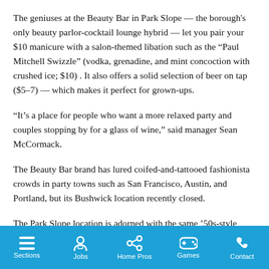The geniuses at the Beauty Bar in Park Slope — the borough's only beauty parlor-cocktail lounge hybrid — let you pair your $10 manicure with a salon-themed libation such as the “Paul Mitchell Swizzle” (vodka, grenadine, and mint concoction with crushed ice; $10) . It also offers a solid selection of beer on tap ($5–7) — which makes it perfect for grown-ups.
“It’s a place for people who want a more relaxed party and couples stopping by for a glass of wine,” said manager Sean McCormack.
The Beauty Bar brand has lured coifed-and-tattooed fashionista crowds in party towns such as San Francisco, Austin, and Portland, but its Bushwick location recently closed.
The Park Slope location is adorned with the same ’50s-style aesthetic, complete with vintage hair-drying chairs, mirrors and
Sections  Jobs  Home Pros  Games  Contact